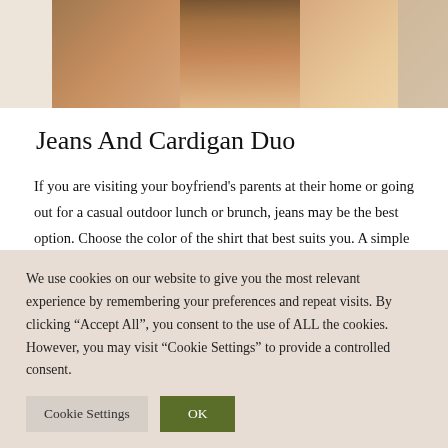[Figure (photo): Cropped photo showing a person's lower body, appearing to wear shorts or a skirt, with skin-toned legs visible against a light background.]
Jeans And Cardigan Duo
If you are visiting your boyfriend's parents at their home or going out for a casual outdoor lunch or brunch, jeans may be the best option. Choose the color of the shirt that best suits you. A simple black shirt is both chic and stylish. A cardigan is what elevates you to the coolest imaginable personality when paired with a shirt and jeans. A
We use cookies on our website to give you the most relevant experience by remembering your preferences and repeat visits. By clicking “Accept All”, you consent to the use of ALL the cookies. However, you may visit “Cookie Settings” to provide a controlled consent.